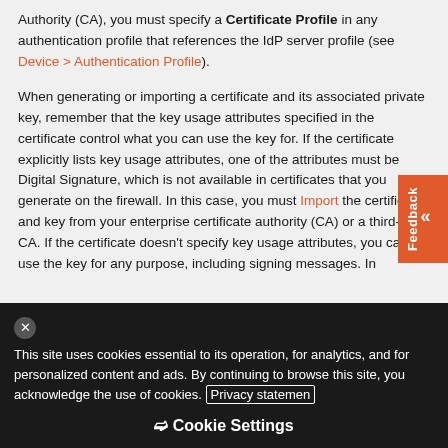Authority (CA), you must specify a Certificate Profile in any authentication profile that references the IdP server profile (see Device > Authentication Profile).
When generating or importing a certificate and its associated private key, remember that the key usage attributes specified in the certificate control what you can use the key for. If the certificate explicitly lists key usage attributes, one of the attributes must be Digital Signature, which is not available in certificates that you generate on the firewall. In this case, you must Import the certificate and key from your enterprise certificate authority (CA) or a third-party CA. If the certificate doesn't specify key usage attributes, you can use the key for any purpose, including signing messages. In
This site uses cookies essential to its operation, for analytics, and for personalized content and ads. By continuing to browse this site, you acknowledge the use of cookies. Privacy statement
Cookie Settings